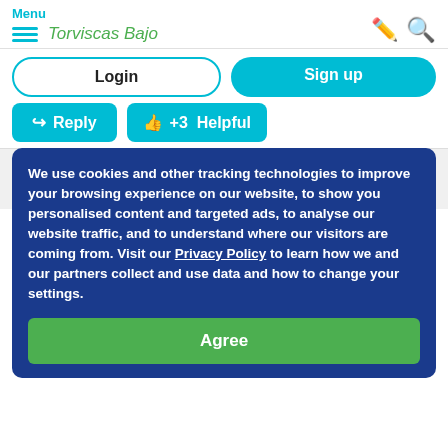Menu  Torviscas Bajo
Login   Sign up
Reply   +3 Helpful
We use cookies and other tracking technologies to improve your browsing experience on our website, to show you personalised content and targeted ads, to analyse our website traffic, and to understand where our visitors are coming from. Visit our Privacy Policy to learn how we and our partners collect and use data and how to change your settings.
Agree
7:50am
If you believe I can get Amazon prime and Netflix without a fire stick but does none know if the tv's in Tenerife have Now Tv on them? I can use a stick or fire stick for it but would be easier to just use the TV.